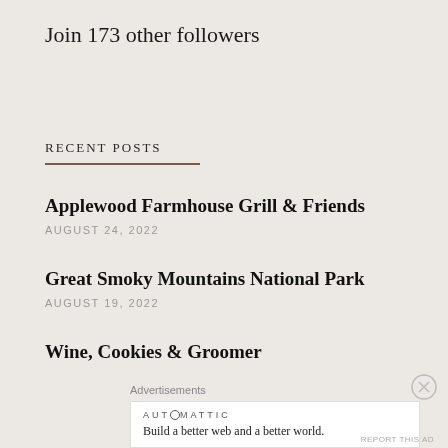Join 173 other followers
RECENT POSTS
Applewood Farmhouse Grill & Friends
AUGUST 24, 2022
Great Smoky Mountains National Park
AUGUST 19, 2022
Wine, Cookies & Groomer
Advertisements
AUTOMATTIC
Build a better web and a better world.
REPORT THIS AD